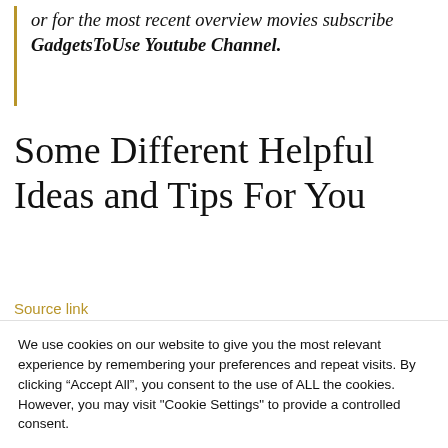or for the most recent overview movies subscribe GadgetsToUse Youtube Channel.
Some Different Helpful Ideas and Tips For You
Source link
We use cookies on our website to give you the most relevant experience by remembering your preferences and repeat visits. By clicking “Accept All”, you consent to the use of ALL the cookies. However, you may visit "Cookie Settings" to provide a controlled consent.